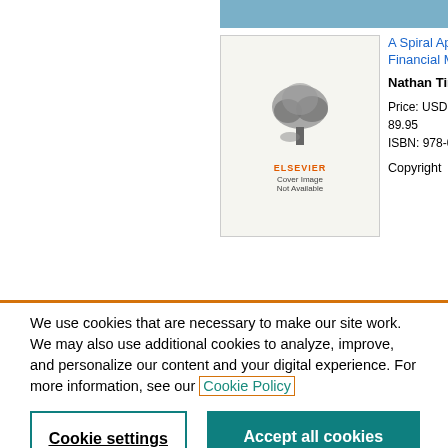[Figure (illustration): Elsevier book cover placeholder showing tree illustration and text 'Cover Image Not Available']
A Spiral Approach to Financial Mathematics
Nathan Tintle
Price: USD: 89.95
ISBN: 978-0-12-801580-3
Copyright
This book also belongs to the following Subject Areas: Finance Social Science
We use cookies that are necessary to make our site work. We may also use additional cookies to analyze, improve, and personalize our content and your digital experience. For more information, see our Cookie Policy
Cookie settings
Accept all cookies